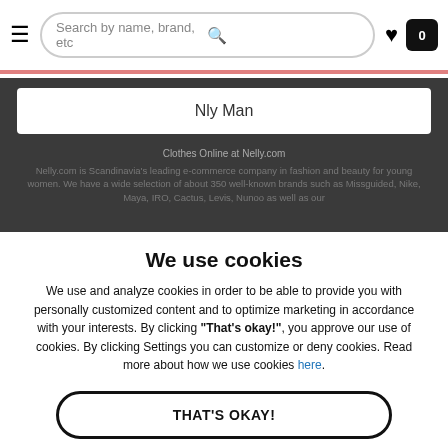Search by name, brand, etc
Nly Man
Clothes Online at Nelly.com
Nelly.com is Scandinavia's leading e-commerce company in fashion and beauty for young women. We have a wide selection of about 350 well-known brands such as Missguided, Nike, Maya, IRO, Cactus, Levis, Nunoo as well as our
We use cookies
We use and analyze cookies in order to be able to provide you with personally customized content and to optimize marketing in accordance with your interests. By clicking "That's okay!", you approve our use of cookies. By clicking Settings you can customize or deny cookies. Read more about how we use cookies here.
THAT'S OKAY!
Settings